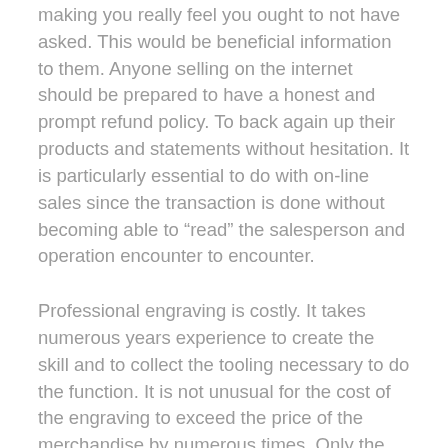making you really feel you ought to not have asked. This would be beneficial information to them. Anyone selling on the internet should be prepared to have a honest and prompt refund policy. To back again up their products and statements without hesitation. It is particularly essential to do with on-line sales since the transaction is done without becoming able to "read" the salesperson and operation encounter to encounter.
Professional engraving is costly. It takes numerous years experience to create the skill and to collect the tooling necessary to do the function. It is not unusual for the cost of the engraving to exceed the price of the merchandise by numerous times. Only the consumer can determine if the finished post will be really worth it to them or not.
One of my daily habits that is the cbd for back pain foundation of my life is spending one-two hrs each and every morning feeding my physique physically by working out and feeding my mental spirit by studying or listening to a motivational message. This behavior warms me up for the working day ahead.